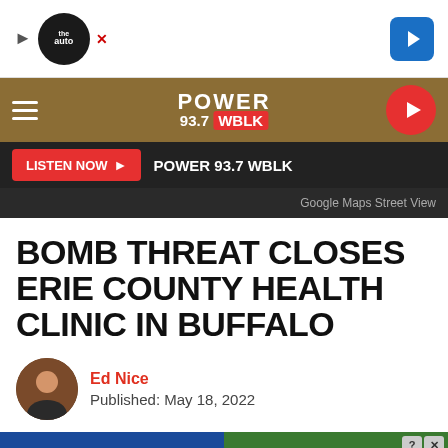[Figure (screenshot): Ad banner with auto-related logo and navigation arrow icon]
[Figure (logo): Power 93.7 WBLK radio station navigation bar with hamburger menu and play button]
LISTEN NOW ▶ POWER 93.7 WBLK
Google Maps Street View
BOMB THREAT CLOSES ERIE COUNTY HEALTH CLINIC IN BUFFALO
Ed Nice
Published: May 18, 2022
[Figure (screenshot): Wolf Game advertisement banner showing wolves and text 'THE HUNT IS ON!']